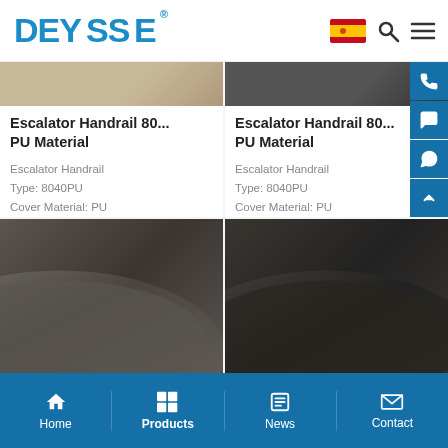DEYSSE
[Figure (photo): Escalator handrail product image - brown/tan color, top portion visible]
Escalator Handrail 80... PU Material
Escalator Handrail
Type: 8040PU
Cover Material: PU
Sliding Layer: Synthetic…
[Figure (photo): Escalator handrail product image - dark/black color, top portion visible]
Escalator Handrail 80... PU Material
Escalator Handrail
Type: 8040PU
Cover Material: PU
Sliding Layer: Synthetic…
[Figure (photo): Dark brown/gray escalator handrail product image - angled view]
[Figure (photo): Dark black escalator handrail product image - angled view]
Home  Products  News  Contact